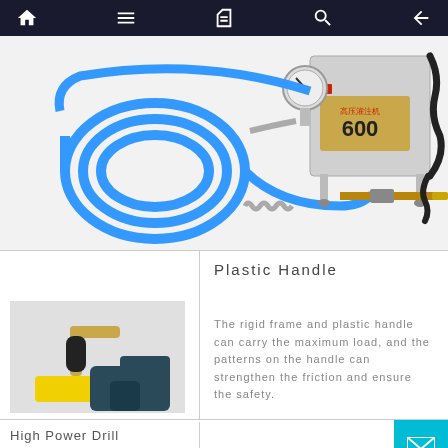Navigation bar with home, menu, book, search, and back icons
[Figure (photo): High-pressure injection pump machine (labeled 600) with blue coiled hose, pressure gauge, metal stand, and injection nozzle rod with valve]
[Figure (photo): Close-up of plastic handle on a power drill tool - shows black rubber handle grip and yellow base]
Plastic Handle
The rigid frame and plastic handle can carry the maximum load, and the patterns on the handle can strengthen the friction and ensure the safety.
High Power Drill